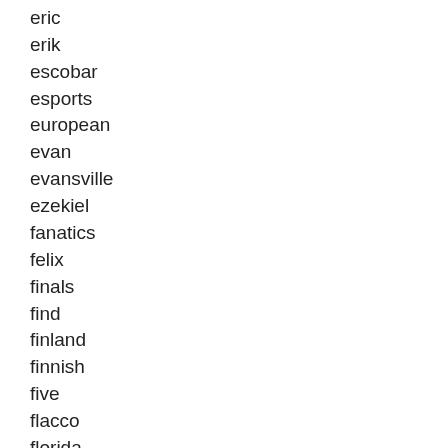eovaldi
eric
erik
escobar
esports
european
evan
evansville
ezekiel
fanatics
felix
finals
find
finland
finnish
five
flacco
florida
football
force
former